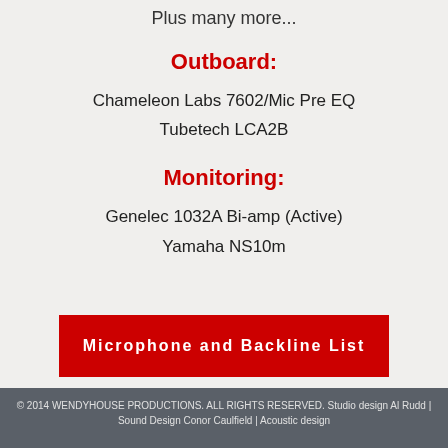Plus many more...
Outboard:
Chameleon Labs 7602/Mic Pre EQ
Tubetech LCA2B
Monitoring:
Genelec 1032A Bi-amp  (Active)
Yamaha NS10m
Microphone and Backline List
© 2014 WENDYHOUSE PRODUCTIONS. ALL RIGHTS RESERVED. Studio design Al Rudd | Sound Design Conor Caulfield | Acoustic design